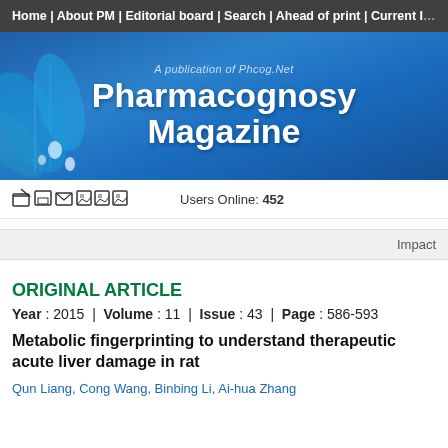Home | About PM | Editorial board | Search | Ahead of print | Current Issue
[Figure (illustration): Pharmacognosy Magazine banner with blue floral background. Text reads: 'A publication of Phcog.Net' and 'Pharmacognosy Magazine' in large white bold font.]
Users Online: 452
Impact
ORIGINAL ARTICLE
Year : 2015  |  Volume : 11  |  Issue : 43  |  Page : 586-593
Metabolic fingerprinting to understand therapeutic acute liver damage in rat
Qun Liang, Cong Wang, Binbing Li, Ai-hua Zhang